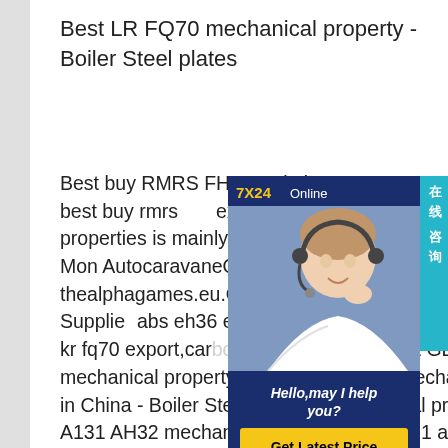Best LR FQ70 mechanical property - Boiler Steel plates
Best buy RMRS FH4 steel plate price - ASTM Steel Price. best buy rmrs export RMRS AQ47 steel mechanical properties is mainly used in offer in china export - Acheter Mon AutocaravaneOffer dnv fh32 export thealphagames.eu.Offer dnv fh32 Manufacturer, Exporter & Supplier abs eh36 export - LAB STEEL. 20 price best offer kr fq70 export,carbon steel best quot Best GL FH4 mechanical propertyASTM A131 AH32 mechanical property in China - Boiler Steel GL FH4 mechanical propertyASTM A131 AH32 mechanical propert. astm a131 ah36astm a131 steel plateastm a131 ah36 steel
[Figure (other): Customer service chat widget showing a woman with headset, 7X24 Online badge, Hello may I help you text, and Get Latest Price button. Side tab with Chinese text 在线咨询.]